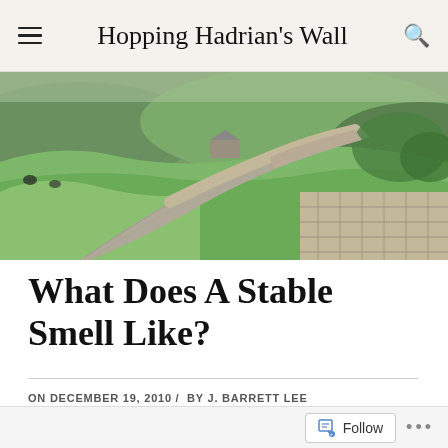Hopping Hadrian's Wall
[Figure (photo): Landscape photo of Hadrian's Wall stretching across rolling green hills, with stone masonry visible in the foreground and fields in the background]
What Does A Stable Smell Like?
ON DECEMBER 19, 2010  /  BY J. BARRETT LEE
Follow